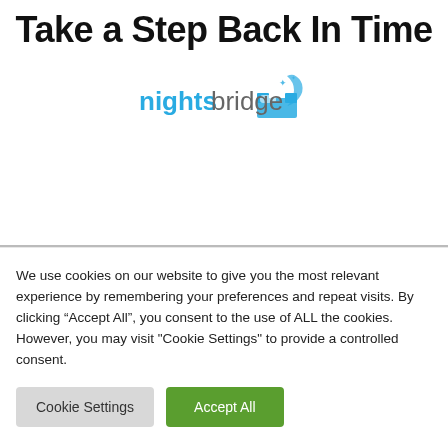Take a Step Back In Time
[Figure (logo): Nightsbridge logo with text 'nightsbridge' and a stylized bed/moon icon]
We use cookies on our website to give you the most relevant experience by remembering your preferences and repeat visits. By clicking “Accept All”, you consent to the use of ALL the cookies. However, you may visit "Cookie Settings" to provide a controlled consent.
Cookie Settings | Accept All